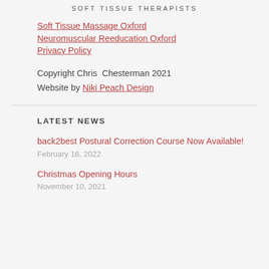SOFT TISSUE THERAPISTS
Soft Tissue Massage Oxford
Neuromuscular Reeducation Oxford
Privacy Policy
Copyright Chris  Chesterman 2021
Website by Niki Peach Design
LATEST NEWS
back2best Postural Correction Course Now Available!
February 16, 2022
Christmas Opening Hours
November 10, 2021